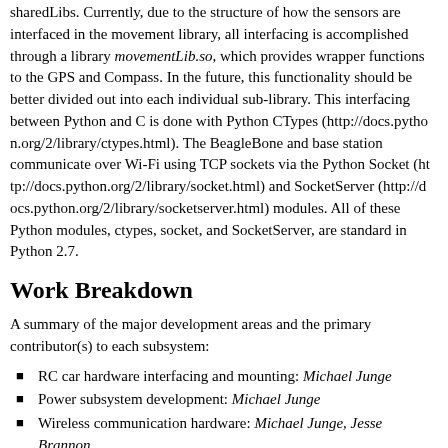sharedLibs. Currently, due to the structure of how the sensors are interfaced in the movement library, all interfacing is accomplished through a library movementLib.so, which provides wrapper functions to the GPS and Compass. In the future, this functionality should be better divided out into each individual sub-library. This interfacing between Python and C is done with Python CTypes (http://docs.python.org/2/library/ctypes.html). The BeagleBone and base station communicate over Wi-Fi using TCP sockets via the Python Socket (http://docs.python.org/2/library/socket.html) and SocketServer (http://docs.python.org/2/library/socketserver.html) modules. All of these Python modules, ctypes, socket, and SocketServer, are standard in Python 2.7.
Work Breakdown
A summary of the major development areas and the primary contributor(s) to each subsystem:
RC car hardware interfacing and mounting: Michael Junge
Power subsystem development: Michael Junge
Wireless communication hardware: Michael Junge, Jesse Brannon
GPS and Compass sensor interfacing: Jesse Brannon
Movement and navigation software development: Jesse